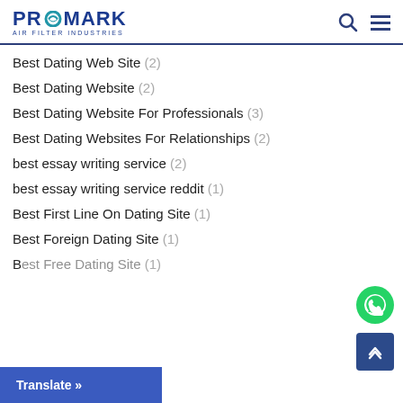PROMARK AIR FILTER INDUSTRIES
Best Dating Web Site (2)
Best Dating Website (2)
Best Dating Website For Professionals (3)
Best Dating Websites For Relationships (2)
best essay writing service (2)
best essay writing service reddit (1)
Best First Line On Dating Site (1)
Best Foreign Dating Site (1)
Best Free Dating Site (1)